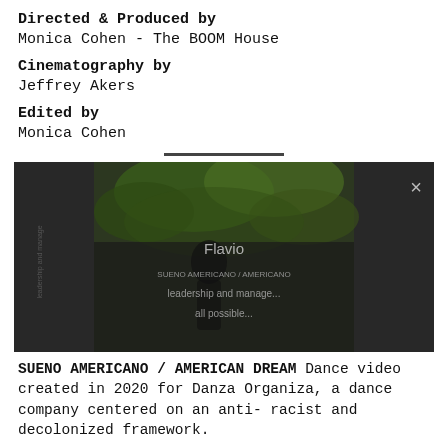Directed & Produced by
Monica Cohen - The BOOM House
Cinematography by
Jeffrey Akers
Edited by
Monica Cohen
[Figure (photo): Screenshot of a dance video showing dancers outdoors with green foliage. Text overlay reads 'Flavio... SUENO AMERICANO / AMERICANO... leadership and manage... all possible...' with an X close button in upper right corner.]
SUENO AMERICANO / AMERICAN DREAM Dance video created in 2020 for Danza Organiza, a dance company centered on an anti-racist and decolonized framework.
Directed & Produced by
Monica Cohen - The BOOM House